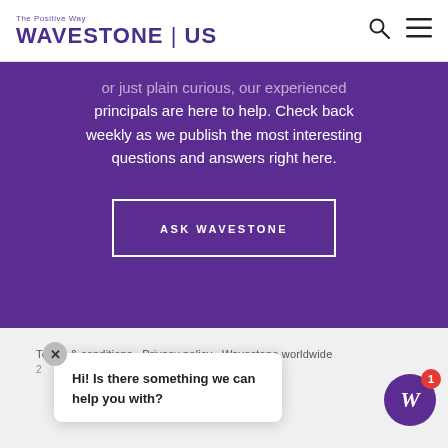The Positive Way | WAVESTONE | US
or just plain curious, our experienced principals are here to help. Check back weekly as we publish the most interesting questions and answers right here.
ASK WAVESTONE
Terms & conditions  Privacy policy  Wavestone worldwide
Hi! Is there something we can help you with?